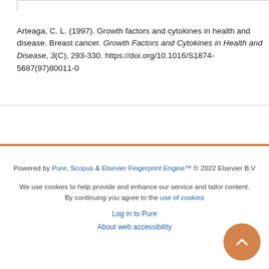Arteaga, C. L. (1997). Growth factors and cytokines in health and disease. Breast cancer. Growth Factors and Cytokines in Health and Disease, 3(C), 293-330. https://doi.org/10.1016/S1874-5687(97)80011-0
Powered by Pure, Scopus & Elsevier Fingerprint Engine™ © 2022 Elsevier B.V
We use cookies to help provide and enhance our service and tailor content. By continuing you agree to the use of cookies
Log in to Pure
About web accessibility